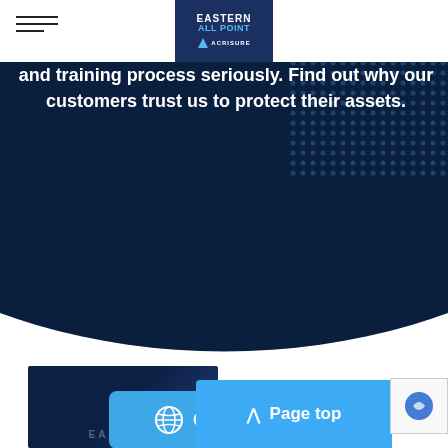Eastern All Point / Acrisure logo and navigation
and training process seriously. Find out why our customers trust us to protect their assets.
[Figure (screenshot): Blue Contact Us button with globe/phone icon on dark navy background]
[Figure (photo): Small dark blue image at bottom left, partially cropped, appears to be Eastern All Point logo/imagery]
[Figure (screenshot): Page top button in bright blue at bottom right with upward arrow and text 'Page top']